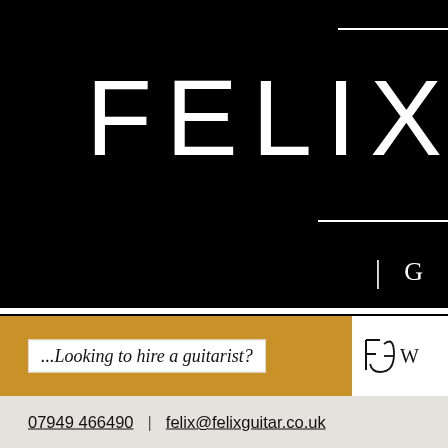FELIX
| G
...Looking to hire a guitarist?
07949 466490  |  felix@felixguitar.co.uk